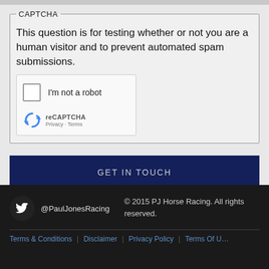CAPTCHA
This question is for testing whether or not you are a human visitor and to prevent automated spam submissions.
[Figure (screenshot): reCAPTCHA widget with checkbox labeled 'I'm not a robot', reCAPTCHA logo, and Privacy/Terms links]
GET IN TOUCH
@PaulJonesRacing | © 2015 PJ Horse Racing. All rights reserved. | Terms & Conditions | Disclaimer | Privacy Policy | Terms Of U…